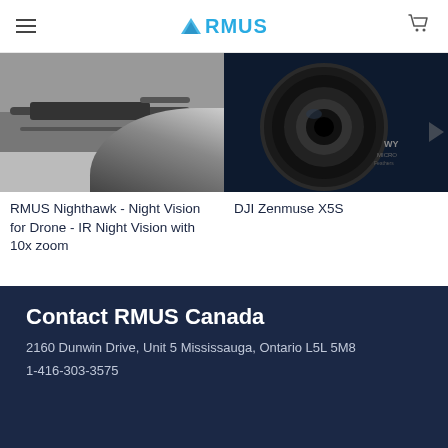RMUS
[Figure (photo): Drone camera / RMUS Nighthawk product image]
[Figure (photo): DJI Zenmuse X5S camera lens close-up]
RMUS Nighthawk - Night Vision for Drone - IR Night Vision with 10x zoom
DJI Zenmuse X5S
Contact RMUS Canada
2160 Dunwin Drive, Unit 5 Mississauga, Ontario L5L 5M8
1-416-303-3575